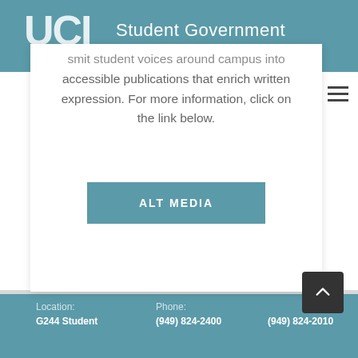UCI Student Government
...smit student voices around campus into accessible publications that enrich written expression. For more information, click on the link below.
ALT MEDIA
Location: G244 Student | Phone: (949) 824-2400 | (949) 824-2010